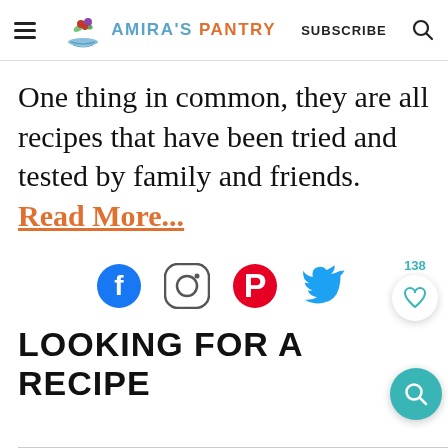Amira's Pantry — SUBSCRIBE
One thing in common, they are all recipes that have been tried and tested by family and friends. Read More...
[Figure (infographic): Social media icons: Facebook (blue circle), Instagram (gradient circle), Pinterest (red circle), Twitter (blue bird)]
LOOKING FOR A RECIPE